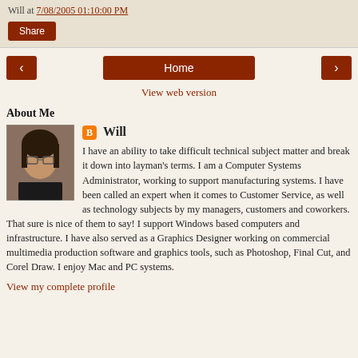Will at 7/08/2005 01:10:00 PM
Share
< Home >
View web version
About Me
[Figure (photo): Profile photo of Will — a person with long dark hair and glasses]
Will
I have an ability to take difficult technical subject matter and break it down into layman's terms. I am a Computer Systems Administrator, working to support manufacturing systems. I have been called an expert when it comes to Customer Service, as well as technology subjects by my managers, customers and coworkers. That sure is nice of them to say! I support Windows based computers and infrastructure. I have also served as a Graphics Designer working on commercial multimedia production software and graphics tools, such as Photoshop, Final Cut, and Corel Draw. I enjoy Mac and PC systems.
View my complete profile